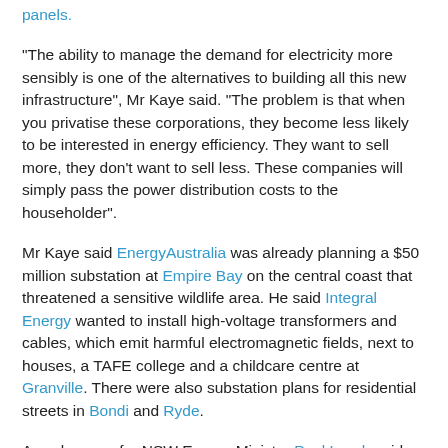panels.
"The ability to manage the demand for electricity more sensibly is one of the alternatives to building all this new infrastructure", Mr Kaye said. "The problem is that when you privatise these corporations, they become less likely to be interested in energy efficiency. They want to sell more, they don't want to sell less. These companies will simply pass the power distribution costs to the householder".
Mr Kaye said EnergyAustralia was already planning a $50 million substation at Empire Bay on the central coast that threatened a sensitive wildlife area. He said Integral Energy wanted to install high-voltage transformers and cables, which emit harmful electromagnetic fields, next to houses, a TAFE college and a childcare centre at Granville. There were also substation plans for residential streets in Bondi and Ryde.
A spokesman for NSW Energy Minister Paul Lynch said the government had no say on when projects were completed or how the grid operated. Households are already coping with electricity price rises after the Independent Pricing and